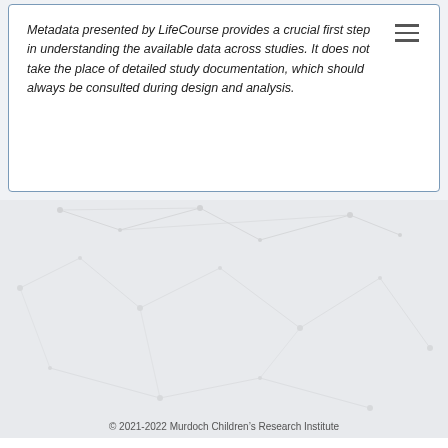Metadata presented by LifeCourse provides a crucial first step in understanding the available data across studies. It does not take the place of detailed study documentation, which should always be consulted during design and analysis.
[Figure (logo): Melbourne Children's / Royal Children's Hospital Melbourne / Murdoch Children's Research Institute / The University of Melbourne — institutional partner logos banner]
© 2021-2022 Murdoch Children's Research Institute